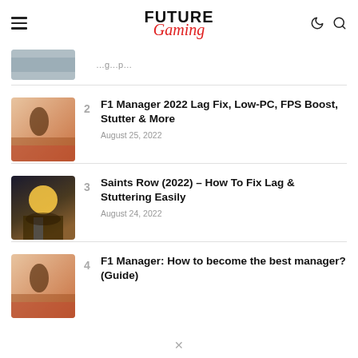Future Gaming
F1 Manager 2022 Lag Fix, Low-PC, FPS Boost, Stutter & More — August 25, 2022
Saints Row (2022) – How To Fix Lag & Stuttering Easily — August 24, 2022
F1 Manager: How to become the best manager? (Guide)